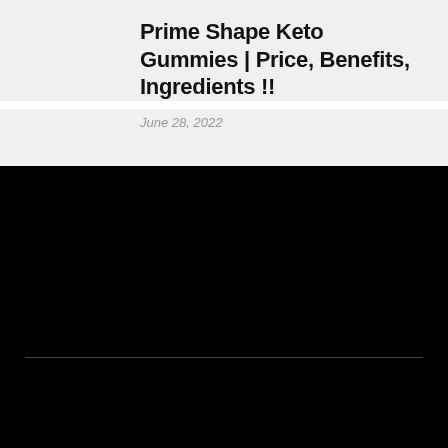Prime Shape Keto Gummies | Price, Benefits, Ingredients !!
June 28, 2022
[Figure (photo): Black background section with a horizontal divider line, likely containing an image or content area that is not visible due to dark rendering]